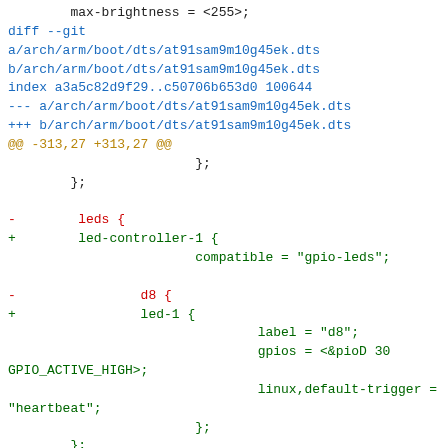Diff output for at91sam9m10g45ek.dts showing LED node renames